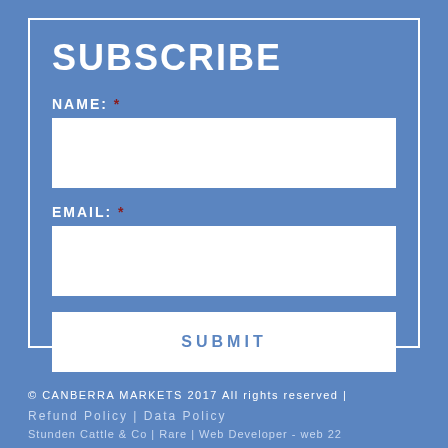SUBSCRIBE
NAME: *
EMAIL: *
SUBMIT
© CANBERRA MARKETS 2017 All rights reserved | Refund Policy | Data Policy
Stunden Cattle & Co | Rare | Web Developer - web 22